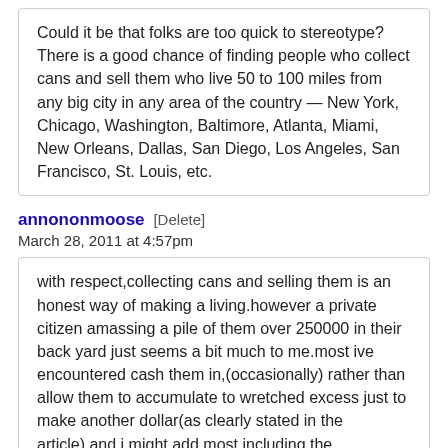Could it be that folks are too quick to stereotype? There is a good chance of finding people who collect cans and sell them who live 50 to 100 miles from any big city in any area of the country — New York, Chicago, Washington, Baltimore, Atlanta, Miami, New Orleans, Dallas, San Diego, Los Angeles, San Francisco, St. Louis, etc.
annononmoose [Delete] March 28, 2011 at 4:57pm
with respect,collecting cans and selling them is an honest way of making a living.however a private citizen amassing a pile of them over 250000 in their back yard just seems a bit much to me.most ive encountered cash them in,(occasionally) rather than allow them to accumulate to wretched excess just to make another dollar(as clearly stated in the article).and i might add,most,including the convenience center,i believe, tend to keep their cans more securely contained in containers designed to keep them secure.IF YOU HAVE MORE CANS IN YOUR BACK YARD THAN THE CONVENIENCE CENTER HAS IN ITS CONTAINER FOR THE WHOLE COUNTY, some may find that excessive,disturbing, or JUST PLAIN WRONG...however